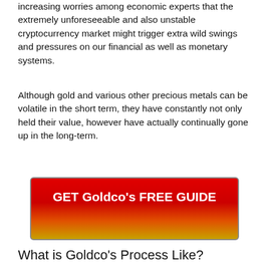increasing worries among economic experts that the extremely unforeseeable and also unstable cryptocurrency market might trigger extra wild swings and pressures on our financial as well as monetary systems.
Although gold and various other precious metals can be volatile in the short term, they have constantly not only held their value, however have actually continually gone up in the long-term.
[Figure (other): Red to gold gradient button with bold white text reading 'GET Goldco's FREE GUIDE']
What is Goldco's Process Like?